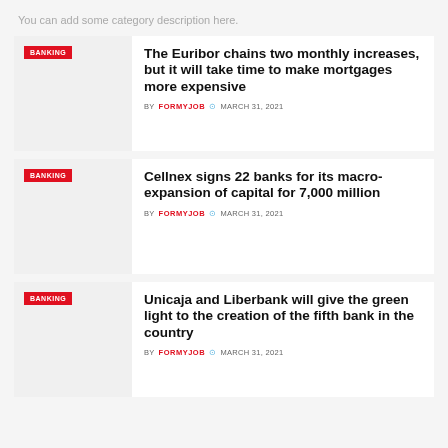You can add some category description here.
[Figure (photo): Thumbnail image placeholder with BANKING tag for article 1]
The Euribor chains two monthly increases, but it will take time to make mortgages more expensive
BY FORMYJOB  MARCH 31, 2021
[Figure (photo): Thumbnail image placeholder with BANKING tag for article 2]
Cellnex signs 22 banks for its macro-expansion of capital for 7,000 million
BY FORMYJOB  MARCH 31, 2021
[Figure (photo): Thumbnail image placeholder with BANKING tag for article 3]
Unicaja and Liberbank will give the green light to the creation of the fifth bank in the country
BY FORMYJOB  MARCH 31, 2021